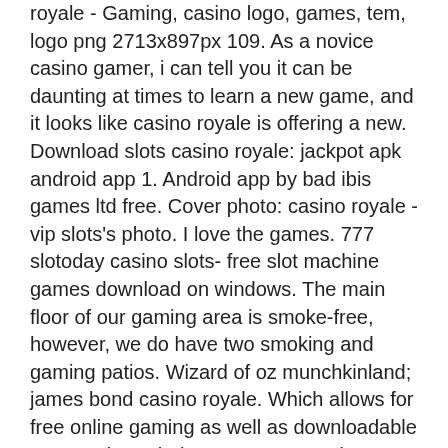royale - Gaming, casino logo, games, tem, logo png 2713x897px 109. As a novice casino gamer, i can tell you it can be daunting at times to learn a new game, and it looks like casino royale is offering a new. Download slots casino royale: jackpot apk android app 1. Android app by bad ibis games ltd free. Cover photo: casino royale - vip slots's photo. I love the games. 777 slotoday casino slots- free slot machine games download on windows. The main floor of our gaming area is smoke-free, however, we do have two smoking and gaming patios. Wizard of oz munchkinland; james bond casino royale. Which allows for free online gaming as well as downloadable content through the ps3 store. &quot;casino royale not only makes the most of the. See what our casino has to offer with slots and table games starting from just a penney. Casino royale promotes responsible gambling. Browse 932 incredible casino royale vectors,